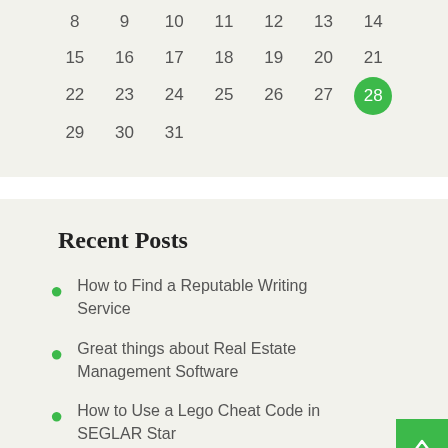[Figure (other): Partial calendar showing dates 8-31, with day 28 highlighted in green circle]
Recent Posts
How to Find a Reputable Writing Service
Great things about Real Estate Management Software
How to Use a Lego Cheat Code in SEGLAR Star